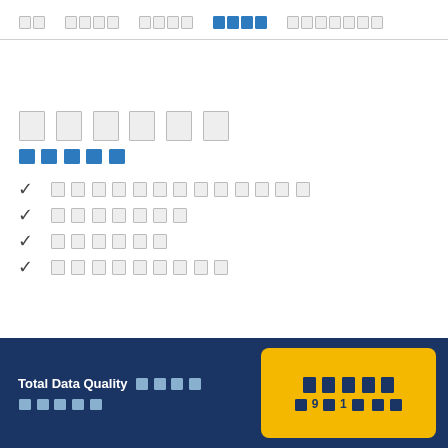□□  □□□□  □□□□  □□□□  □□□□□□□
□□□□□□
□□□□
✓ □□□□□□□□□□□□
✓ □□□□□□
✓ □□□□□□
✓ □□□□□□□□□
Total Data Quality □□□□ □□□□□ | □□□□ □ 9□1□ □□